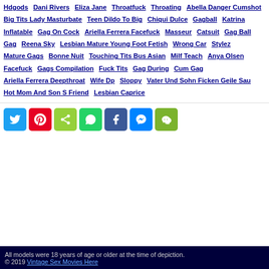Hdgods Dani Rivers Eliza Jane Throatfuck Throating Abella Danger Cumshot Big Tits Lady Masturbate Teen Dildo To Big Chiqui Dulce Gagball Katrina Inflatable Gag On Cock Ariella Ferrera Facefuck Masseur Catsuit Gag Ball Gag Reena Sky Lesbian Mature Young Foot Fetish Wrong Car Stylez Mature Gags Bonne Nuit Touching Tits Bus Asian Milf Teach Anya Olsen Facefuck Gags Compilation Fuck Tits Gag During Cum Gag Ariella Ferrera Deepthroat Wife Dp Sloppy Vater Und Sohn Ficken Geile Sau Hot Mom And Son S Friend Lesbian Caprice
[Figure (other): Social share buttons: Twitter, Pinterest, ShareThis, WhatsApp, Facebook, Messenger, WeChat]
All models were 18 years of age or older at the time of depiction. © 2019 Vintage Sex Movies Here